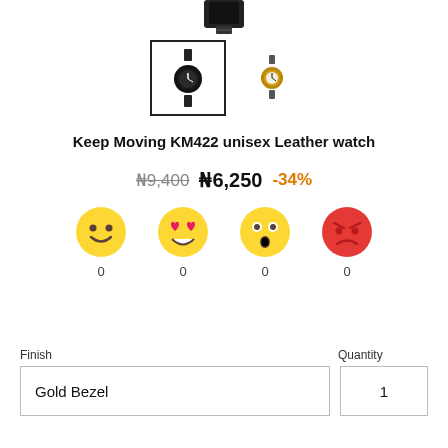[Figure (photo): Top portion of a black leather wristwatch strap visible at top of page]
[Figure (screenshot): Two product thumbnail images: first (selected, with black border) shows a black leather watch; second shows a similar watch with gold bezel]
Keep Moving KM422 unisex Leather watch
₦9,400  ₦6,250  -34%
[Figure (infographic): Four emoji reaction icons (smiley face, heart-eyes face, astonished face, angry face) each with a count of 0 below them]
Finish
Quantity
Gold Bezel
1